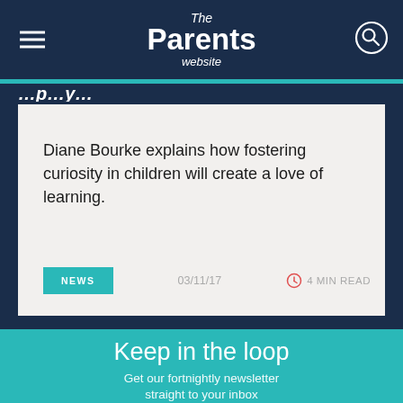The Parents website
Diane Bourke explains how fostering curiosity in children will create a love of learning.
NEWS  03/11/17  4 MIN READ
Keep in the loop
Get our fortnightly newsletter straight to your inbox